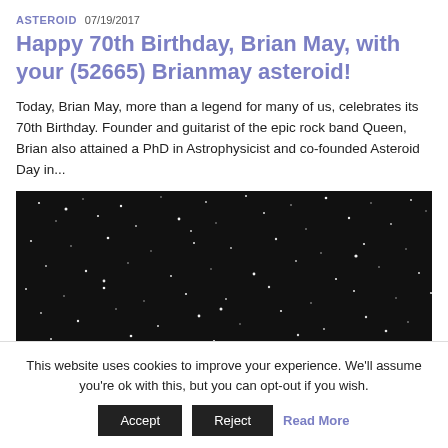ASTEROID  07/19/2017
Happy 70th Birthday, Brian May, with your (52665) Brianmay asteroid!
Today, Brian May, more than a legend for many of us, celebrates its 70th Birthday. Founder and guitarist of the epic rock band Queen, Brian also attained a PhD in Astrophysicist and co-founded Asteroid Day in...
[Figure (photo): Black and white image of a star field showing many small white dots (stars) against a dark background.]
This website uses cookies to improve your experience. We'll assume you're ok with this, but you can opt-out if you wish.